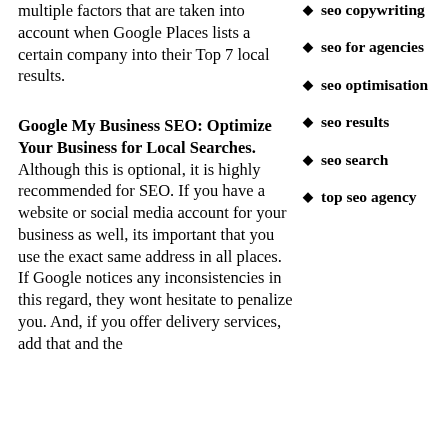multiple factors that are taken into account when Google Places lists a certain company into their Top 7 local results.
Google My Business SEO: Optimize Your Business for Local Searches.
Although this is optional, it is highly recommended for SEO. If you have a website or social media account for your business as well, its important that you use the exact same address in all places. If Google notices any inconsistencies in this regard, they wont hesitate to penalize you. And, if you offer delivery services, add that and the
seo copywriting
seo for agencies
seo optimisation
seo results
seo search
top seo agency